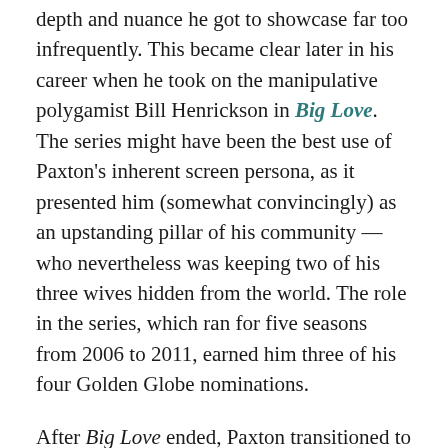depth and nuance he got to showcase far too infrequently. This became clear later in his career when he took on the manipulative polygamist Bill Henrickson in Big Love. The series might have been the best use of Paxton's inherent screen persona, as it presented him (somewhat convincingly) as an upstanding pillar of his community — who nevertheless was keeping two of his three wives hidden from the world. The role in the series, which ran for five seasons from 2006 to 2011, earned him three of his four Golden Globe nominations.
After Big Love ended, Paxton transitioned to more work in television, including a recurring role in the first season of Marvel's Agents of S.H.I.E.L.D. He nabbed an Emmy nod for his leading turn in 2012's miniseries Hatfields & McCoys.